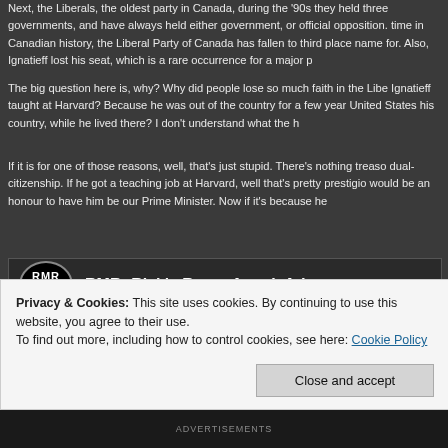Next, the Liberals, the oldest party in Canada, during the '90s they held three governments, and have always held either government, or official opposition. time in Canadian history, the Liberal Party of Canada has fallen to third place name for. Also, Ignatieff lost his seat, which is a rare occurrence for a major p
The big question here is, why? Why did people lose so much faith in the Libe Ignatieff taught at Harvard? Because he was out of the country for a few year United States his country, while he lived there? I don't understand what the h
If it is for one of those reasons, well, that's just stupid. There's nothing treaso dual-citizenship. If he got a teaching job at Harvard, well that's pretty prestigio would be an honour to have him be our Prime Minister. Now if it's because he
[Figure (screenshot): Embedded video thumbnail for 'RMR: Rick's Rant - Attack Ads' from Rick Mercer Report, showing the RMR logo and title on a dark background with people in the background.]
Privacy & Cookies: This site uses cookies. By continuing to use this website, you agree to their use.
To find out more, including how to control cookies, see here: Cookie Policy
Close and accept
Advertisements